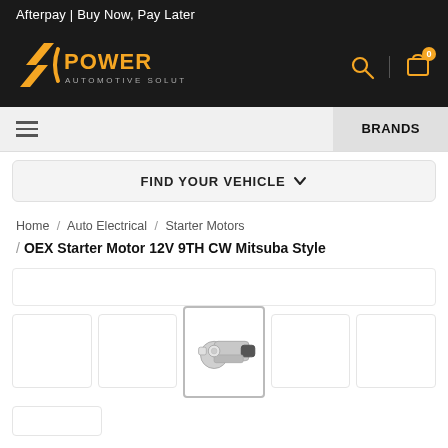Afterpay | Buy Now, Pay Later
[Figure (logo): DC Power Automotive Solutions logo in orange and white on dark background]
BRANDS
FIND YOUR VEHICLE ▾
Home / Auto Electrical / Starter Motors
OEX Starter Motor 12V 9TH CW Mitsuba Style
[Figure (photo): OEX Starter Motor 12V 9TH CW Mitsuba Style product photo - silver and black starter motor unit]